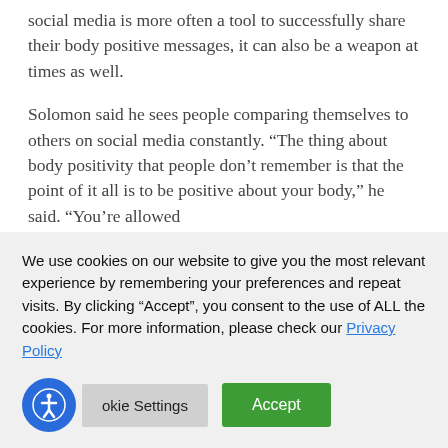social media is more often a tool to successfully share their body positive messages, it can also be a weapon at times as well.
Solomon said he sees people comparing themselves to others on social media constantly. “The thing about body positivity that people don’t remember is that the point of it all is to be positive about your body,” he said. “You’re allowed to be positive yourself, about the body of...
We use cookies on our website to give you the most relevant experience by remembering your preferences and repeat visits. By clicking “Accept”, you consent to the use of ALL the cookies. For more information, please check our Privacy Policy